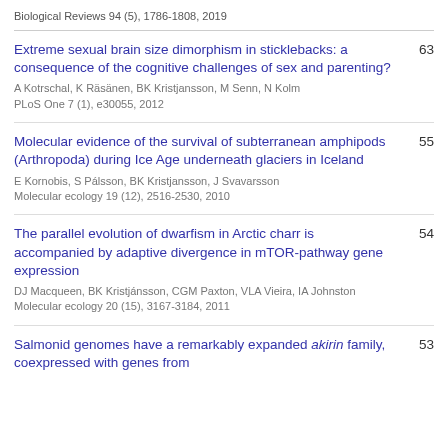Biological Reviews 94 (5), 1786-1808, 2019
Extreme sexual brain size dimorphism in sticklebacks: a consequence of the cognitive challenges of sex and parenting?
A Kotrschal, K Räsänen, BK Kristjansson, M Senn, N Kolm
PLoS One 7 (1), e30055, 2012
63
Molecular evidence of the survival of subterranean amphipods (Arthropoda) during Ice Age underneath glaciers in Iceland
E Kornobis, S Pálsson, BK Kristjansson, J Svavarsson
Molecular ecology 19 (12), 2516-2530, 2010
55
The parallel evolution of dwarfism in Arctic charr is accompanied by adaptive divergence in mTOR-pathway gene expression
DJ Macqueen, BK Kristjánsson, CGM Paxton, VLA Vieira, IA Johnston
Molecular ecology 20 (15), 3167-3184, 2011
54
Salmonid genomes have a remarkably expanded akirin family, coexpressed with genes from
53